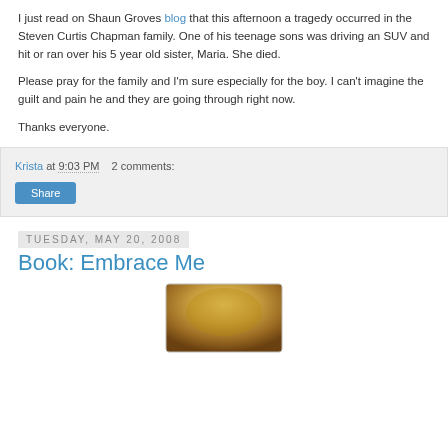I just read on Shaun Groves blog that this afternoon a tragedy occurred in the Steven Curtis Chapman family. One of his teenage sons was driving an SUV and hit or ran over his 5 year old sister, Maria. She died.
Please pray for the family and I'm sure especially for the boy. I can't imagine the guilt and pain he and they are going through right now.
Thanks everyone.
Krista at 9:03 PM   2 comments:
Share
Tuesday, May 20, 2008
Book: Embrace Me
[Figure (photo): Partial book cover image showing the top portion of a book with brown/gold tones, cropped at bottom of page]